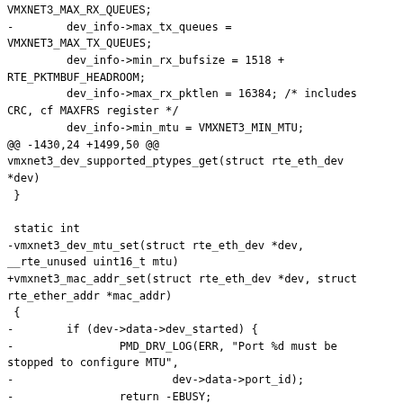VMXNET3_MAX_RX_QUEUES;
-        dev_info->max_tx_queues =
VMXNET3_MAX_TX_QUEUES;
         dev_info->min_rx_bufsize = 1518 +
RTE_PKTMBUF_HEADROOM;
         dev_info->max_rx_pktlen = 16384; /* includes
CRC, cf MAXFRS register */
         dev_info->min_mtu = VMXNET3_MIN_MTU;
@@ -1430,24 +1499,50 @@
vmxnet3_dev_supported_ptypes_get(struct rte_eth_dev
*dev)
 }

 static int
-vmxnet3_dev_mtu_set(struct rte_eth_dev *dev,
__rte_unused uint16_t mtu)
+vmxnet3_mac_addr_set(struct rte_eth_dev *dev, struct
rte_ether_addr *mac_addr)
 {
-        if (dev->data->dev_started) {
-                PMD_DRV_LOG(ERR, "Port %d must be
stopped to configure MTU",
-                        dev->data->port_id);
-                return -EBUSY;
-        }
+        struct vmxnet3_hw *hw = dev->data->dev_private;

+        rte_ether_addr_copy(mac_addr, (struct
rte_ether_addr *)(hw->perm_addr));
+        vmxnet3_write_mac(hw, mac_addr->addr_bytes);